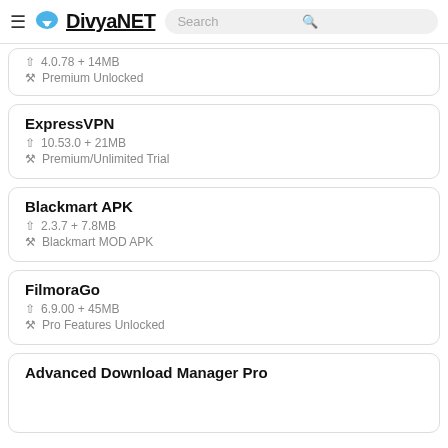DivyaNET — Search
4.0.78 + 14MB / Premium Unlocked
ExpressVPN
10.53.0 + 21MB / Premium/Unlimited Trial
Blackmart APK
2.3.7 + 7.8MB / Blackmart MOD APK
FilmoraGo
6.9.00 + 45MB / Pro Features Unlocked
Advanced Download Manager Pro